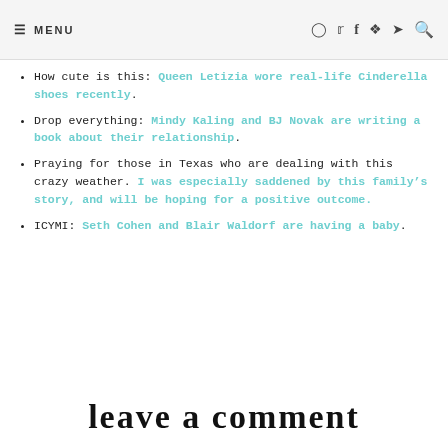≡ MENU  [social icons] [search]
How cute is this: Queen Letizia wore real-life Cinderella shoes recently.
Drop everything: Mindy Kaling and BJ Novak are writing a book about their relationship.
Praying for those in Texas who are dealing with this crazy weather. I was especially saddened by this family's story, and will be hoping for a positive outcome.
ICYMI: Seth Cohen and Blair Waldorf are having a baby.
leave a comment